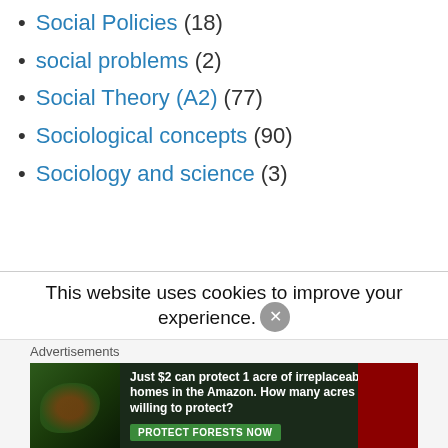Social Policies (18)
social problems (2)
Social Theory (A2) (77)
Sociological concepts (90)
Sociology and science (3)
This website uses cookies to improve your experience.
Advertisements
[Figure (photo): Advertisement banner for Amazon forest protection charity: dark forest background with bird image, red accent bar, text reading 'Just $2 can protect 1 acre of irreplaceable forest homes in the Amazon. How many acres are you willing to protect?' with green 'PROTECT FORESTS NOW' button.]